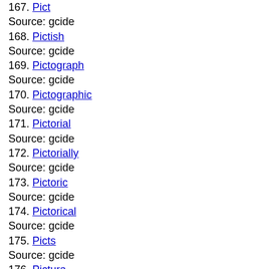167. Pict
Source: gcide
168. Pictish
Source: gcide
169. Pictograph
Source: gcide
170. Pictographic
Source: gcide
171. Pictorial
Source: gcide
172. Pictorially
Source: gcide
173. Pictoric
Source: gcide
174. Pictorical
Source: gcide
175. Picts
Source: gcide
176. Pictura
Source: gcide
177. Picturable
Source: gcide
178. Pictural
Source: gcide
179. Picture
Source: gcide
180. Picture
Source: gcide
181. Picture
Source: gcide
182. Picture
Source: gcide
183. Pictured